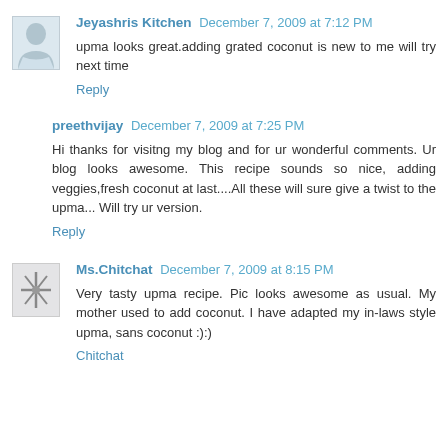Jeyashris Kitchen December 7, 2009 at 7:12 PM
upma looks great.adding grated coconut is new to me will try next time
Reply
preethvijay December 7, 2009 at 7:25 PM
Hi thanks for visitng my blog and for ur wonderful comments. Ur blog looks awesome. This recipe sounds so nice, adding veggies,fresh coconut at last....All these will sure give a twist to the upma... Will try ur version.
Reply
Ms.Chitchat December 7, 2009 at 8:15 PM
Very tasty upma recipe. Pic looks awesome as usual. My mother used to add coconut. I have adapted my in-laws style upma, sans coconut :):)